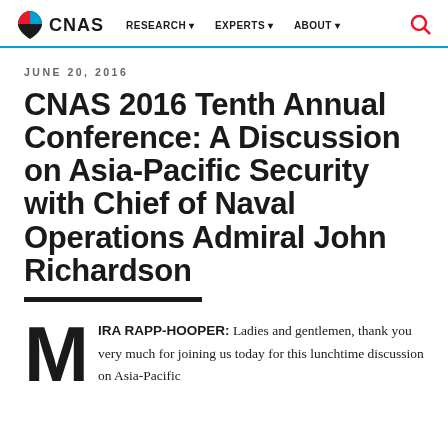CNAS | RESEARCH | EXPERTS | ABOUT
JUNE 20, 2016
CNAS 2016 Tenth Annual Conference: A Discussion on Asia-Pacific Security with Chief of Naval Operations Admiral John Richardson
MIRA RAPP-HOOPER: Ladies and gentlemen, thank you very much for joining us today for this lunchtime discussion on Asia-Pacific